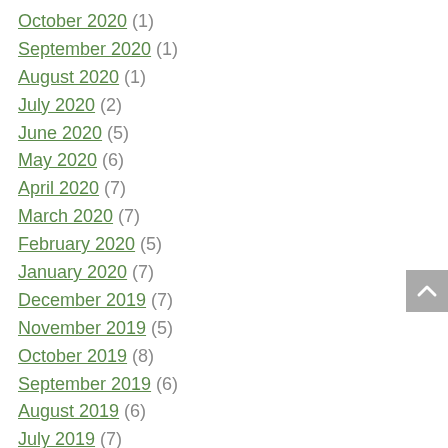October 2020 (1)
September 2020 (1)
August 2020 (1)
July 2020 (2)
June 2020 (5)
May 2020 (6)
April 2020 (7)
March 2020 (7)
February 2020 (5)
January 2020 (7)
December 2019 (7)
November 2019 (5)
October 2019 (8)
September 2019 (6)
August 2019 (6)
July 2019 (7)
June 2019 (7)
May 2019 (6)